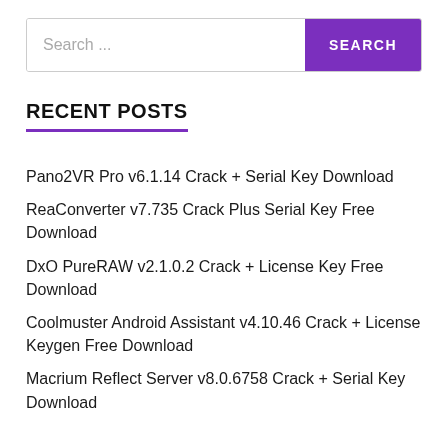[Figure (other): Search bar with text input placeholder 'Search ...' and a purple SEARCH button]
RECENT POSTS
Pano2VR Pro v6.1.14 Crack + Serial Key Download
ReaConverter v7.735 Crack Plus Serial Key Free Download
DxO PureRAW v2.1.0.2 Crack + License Key Free Download
Coolmuster Android Assistant v4.10.46 Crack + License Keygen Free Download
Macrium Reflect Server v8.0.6758 Crack + Serial Key Download